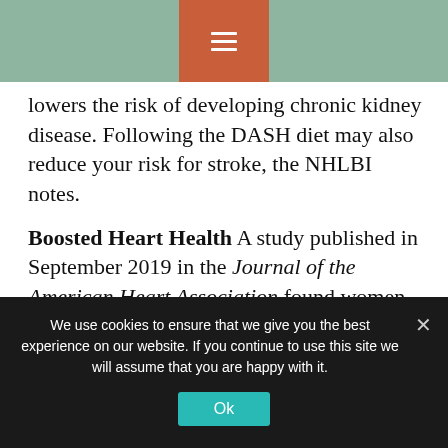Navigation menu header with hamburger icon
lowers the risk of developing chronic kidney disease. Following the DASH diet may also reduce your risk for stroke, the NHLBI notes.
Boosted Heart Health A study published in September 2019 in the Journal of the American Heart Association found women with type 2 diabetes who followed the DASH diet had a lower risk of cardiovascular disease compared with women who did not prioritize fruit, vegetables, and whole grains.
Improved Management of Type 2 Diabetes...
We use cookies to ensure that we give you the best experience on our website. If you continue to use this site we will assume that you are happy with it.